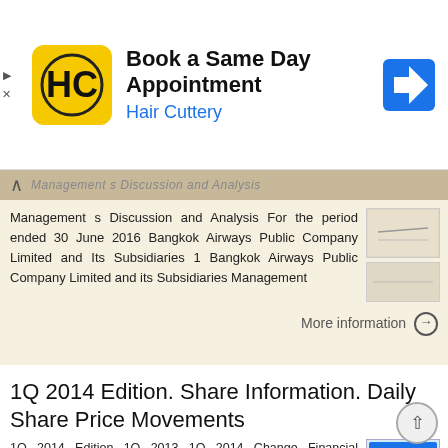[Figure (screenshot): Advertisement banner for Hair Cuttery showing logo, title 'Book a Same Day Appointment', subtitle 'Hair Cuttery', and navigation arrow icon]
Management s Discussion and Analysis For the period ended 30 June 2016 Bangkok Airways Public Company Limited and Its Subsidiaries 1 Bangkok Airways Public Company Limited and its Subsidiaries Management
More information ⊙
1Q 2014 Edition. Share Information. Daily Share Price Movements
1Q 2014 Edition 1Q 2013 1Q 2014 Change Financial Summary (USD Mio) OPERATING REVENUES 807 807 0.01% OPERATING EXPENSES 827 1,000 20.86% OTHERS (INCOME) 4 25 460.80% INCOME (LOSS) FROM